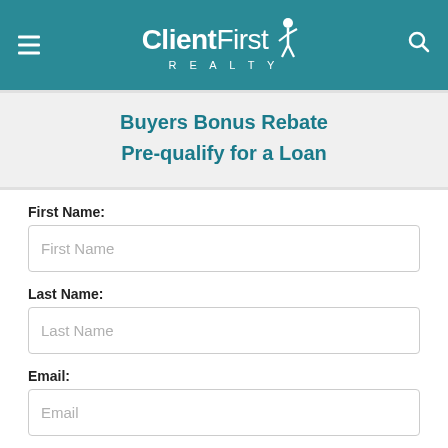[Figure (logo): Client First Realty logo on teal background with hamburger menu icon on left and search icon on right]
Buyers Bonus Rebate
Pre-qualify for a Loan
First Name:
First Name (input placeholder)
Last Name:
Last Name (input placeholder)
Email:
Email (input placeholder)